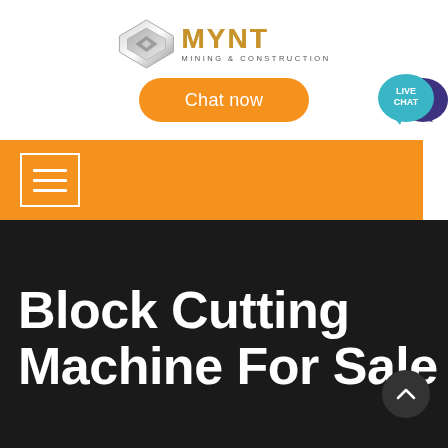[Figure (logo): MYNT Mining & Construction logo with silver diamond shape and gold metallic text]
[Figure (illustration): Orange Chat now button (pill-shaped)]
[Figure (illustration): Live Chat speech bubble icon in teal and purple]
[Figure (illustration): Orange navigation bar with white hamburger/menu icon]
Block Cutting Machine For Sale
[Figure (illustration): Dark circular scroll-up arrow button]